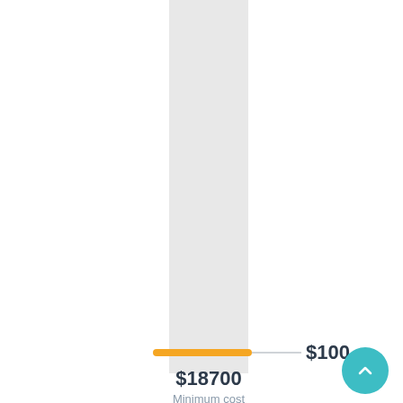[Figure (bar-chart): Vertical bar chart showing a tall gray bar with an orange horizontal marker line near the bottom labeled $100, main value $18700, and label 'Minimum cost']
$100
$18700
Minimum cost